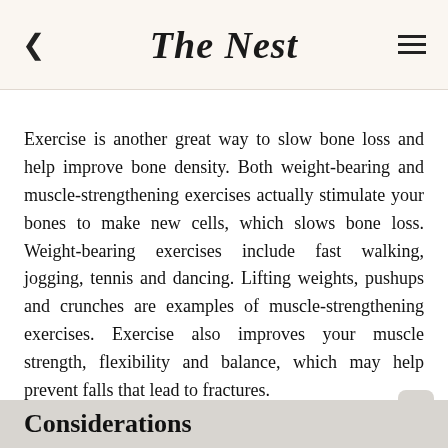The Nest
Exercise is another great way to slow bone loss and help improve bone density. Both weight-bearing and muscle-strengthening exercises actually stimulate your bones to make new cells, which slows bone loss. Weight-bearing exercises include fast walking, jogging, tennis and dancing. Lifting weights, pushups and crunches are examples of muscle-strengthening exercises. Exercise also improves your muscle strength, flexibility and balance, which may help prevent falls that lead to fractures.
Considerations